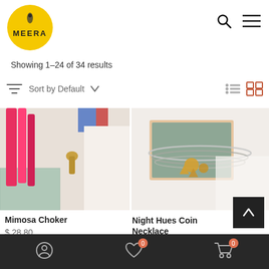[Figure (logo): Meera brand logo — yellow circle with peacock feather icon and MEERA text]
Showing 1–24 of 34 results
Sort by Default
[Figure (photo): Close-up of colorful tassels and jewelry accessories including red and pink tassels on a patterned surface — Mimosa Choker product image]
[Figure (photo): Close-up of layered silver and gold necklaces on white fabric and a green jewelry box — Night Hues Coin Necklace product image]
Mimosa Choker
$ 28.80
Night Hues Coin Necklace
$ 26.98
User account icon | Wishlist (0) | Cart (0)